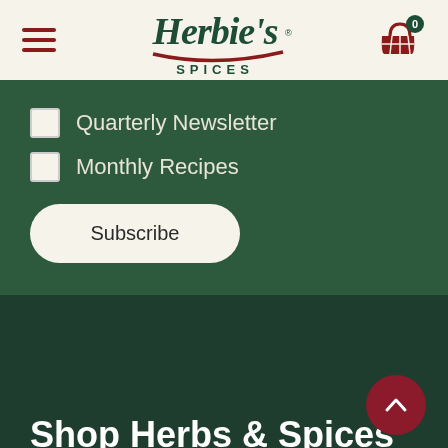[Figure (logo): Herbie's Spices logo with script font and red underline, centered in header]
Quarterly Newsletter
Monthly Recipes
Subscribe
Shop Herbs & Spices
Australian Native Spices